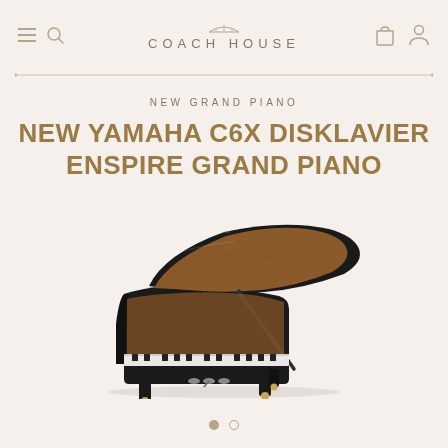COACH HOUSE
NEW GRAND PIANO
NEW YAMAHA C6X DISKLAVIER ENSPIRE GRAND PIANO
[Figure (photo): Black Yamaha C6X Disklavier Enspire grand piano with lid open, shown in three-quarter view against white background, featuring polished ebony finish and golden casters]